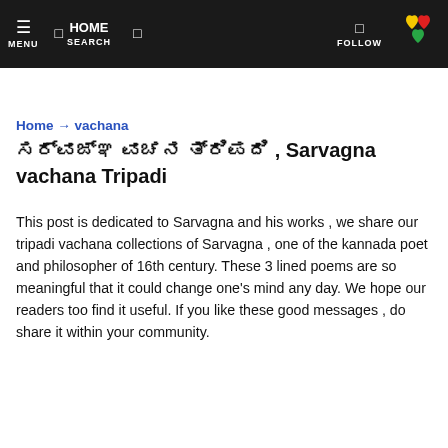MENU  HOME  SEARCH  FOLLOW
Home → vachana
ಸರ್ವಜ್ಞ ವಚನ ತ್ರಿಪದಿ , Sarvagna vachana Tripadi
This post is dedicated to Sarvagna and his works , we share our tripadi vachana collections of Sarvagna , one of the kannada poet and philosopher of 16th century. These 3 lined poems are so meaningful that it could change one's mind any day. We hope our readers too find it useful. If you like these good messages , do share it within your community.